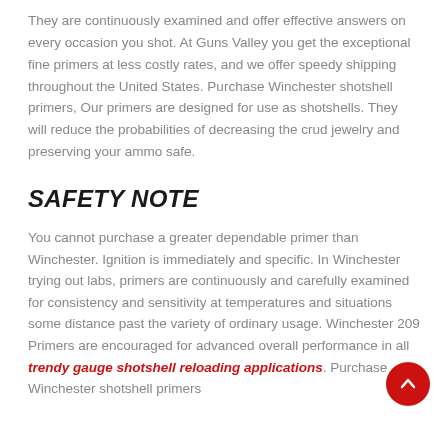They are continuously examined and offer effective answers on every occasion you shot. At Guns Valley you get the exceptional fine primers at less costly rates, and we offer speedy shipping throughout the United States. Purchase Winchester shotshell primers, Our primers are designed for use as shotshells. They will reduce the probabilities of decreasing the crud jewelry and preserving your ammo safe.
SAFETY NOTE
You cannot purchase a greater dependable primer than Winchester. Ignition is immediately and specific. In Winchester trying out labs, primers are continuously and carefully examined for consistency and sensitivity at temperatures and situations some distance past the variety of ordinary usage. Winchester 209 Primers are encouraged for advanced overall performance in all trendy gauge shotshell reloading applications. Purchase Winchester shotshell primers